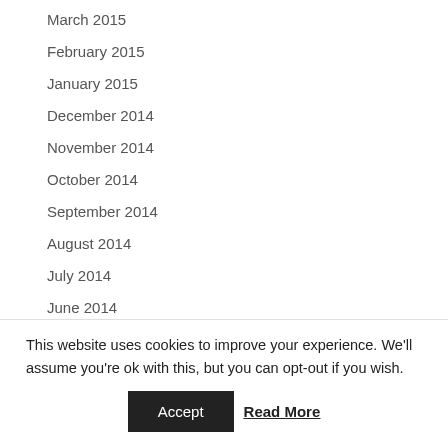March 2015
February 2015
January 2015
December 2014
November 2014
October 2014
September 2014
August 2014
July 2014
June 2014
May 2014
This website uses cookies to improve your experience. We'll assume you're ok with this, but you can opt-out if you wish.
Accept  Read More